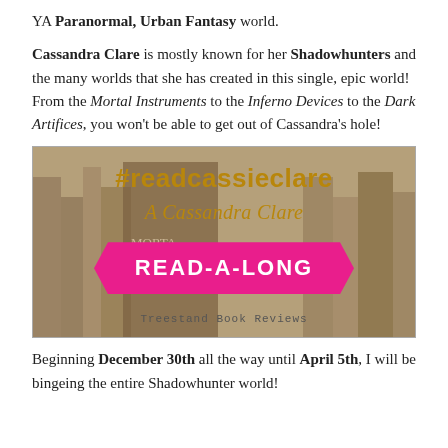YA Paranormal, Urban Fantasy world.
Cassandra Clare is mostly known for her Shadowhunters and the many worlds that she has created in this single, epic world! From the Mortal Instruments to the Inferno Devices to the Dark Artifices, you won't be able to get out of Cassandra's hole!
[Figure (infographic): Promotional banner for #readcassieclare - A Cassandra Clare READ-A-LONG by Treestand Book Reviews, with books visible in the background.]
Beginning December 30th all the way until April 5th, I will be bingeing the entire Shadowhunter world!